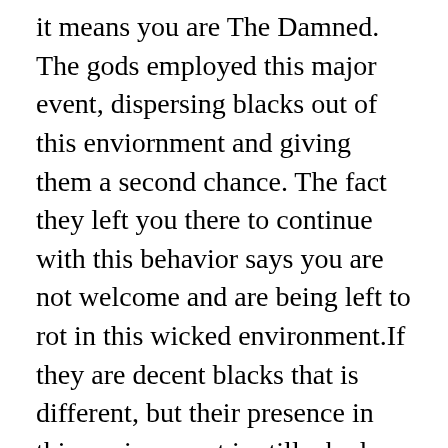it means you are The Damned. The gods employed this major event, dispersing blacks out of this enviornment and giving them a second chance. The fact they left you there to continue with this behavior says you are not welcome and are being left to rot in this wicked environment.If they are decent blacks that is different, but their presence in this environment is still a bad sign, a statement on their level of disfavor and the level of “acceptable losses” they will have to accept and a clue suggesting how far